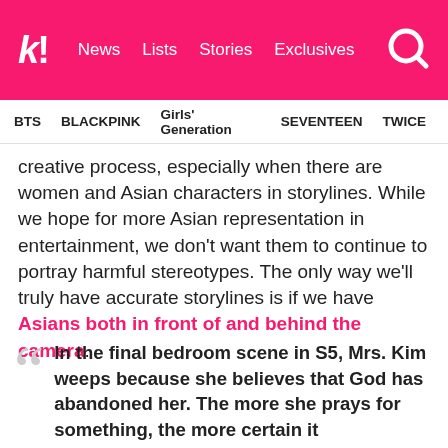k! News  Lists  Stories  Exclusives
BTS  BLACKPINK  Girls' Generation  SEVENTEEN  TWICE
creative process, especially when there are women and Asian characters in storylines. While we hope for more Asian representation in entertainment, we don't want them to continue to portray harmful stereotypes. The only way we'll truly have accurate storylines is if we have Asians both in front of and behind the camera.
In the final bedroom scene in S5, Mrs. Kim weeps because she believes that God has abandoned her. The more she prays for something, the more certain it